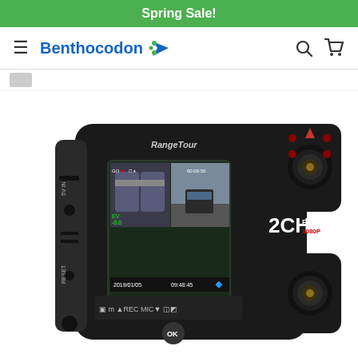Spring Sale!
[Figure (screenshot): Benthocodon brand navigation bar with hamburger menu, logo, search icon, and cart icon]
[Figure (photo): RangeTour dual-channel dashcam (2CH Full HD) showing front and interior cameras, LCD display showing 2019/01/05 09:48:45, with REC and MIC buttons]